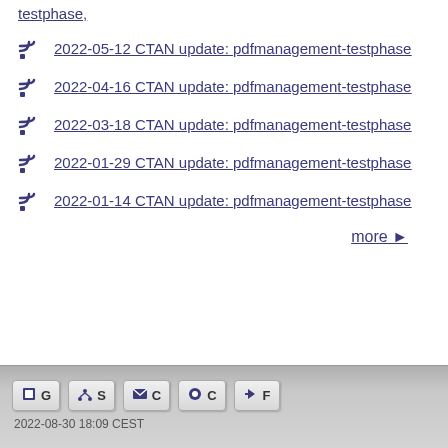testphase,
2022-05-12 CTAN update: pdfmanagement-testphase
2022-04-16 CTAN update: pdfmanagement-testphase
2022-03-18 CTAN update: pdfmanagement-testphase
2022-01-29 CTAN update: pdfmanagement-testphase
2022-01-14 CTAN update: pdfmanagement-testphase
more →
G  S  C  C  F  |  2022-08-30 18:09 CEST